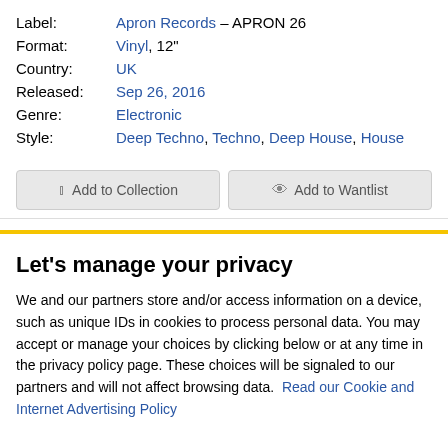Label: Apron Records – APRON 26
Format: Vinyl, 12"
Country: UK
Released: Sep 26, 2016
Genre: Electronic
Style: Deep Techno, Techno, Deep House, House
Add to Collection | Add to Wantlist
Release
[r9110679]
Let's manage your privacy
We and our partners store and/or access information on a device, such as unique IDs in cookies to process personal data. You may accept or manage your choices by clicking below or at any time in the privacy policy page. These choices will be signaled to our partners and will not affect browsing data. Read our Cookie and Internet Advertising Policy